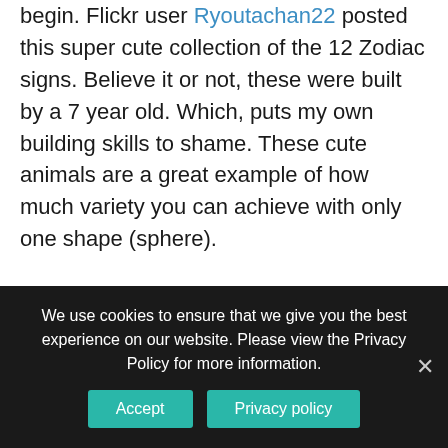begin. Flickr user Ryoutachan22 posted this super cute collection of the 12 Zodiac signs. Believe it or not, these were built by a 7 year old. Which, puts my own building skills to shame. These cute animals are a great example of how much variety you can achieve with only one shape (sphere).
Can you can match up the Rat, Cow, Tiger, Rabbit, Dragon, Snake, Horse, Sheep, Monkey, Bird, Dog, and Boar with their Lego representation?
Check out your Zodiac over on
We use cookies to ensure that we give you the best experience on our website. Please view the Privacy Policy for more information.